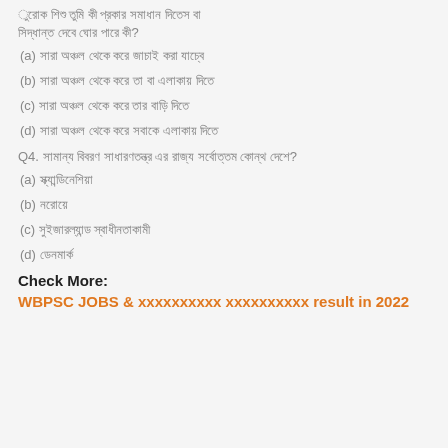xxxxxxxx xxx xxx xxxx xxx?
(a) xxx xxxxxx xxxx xxx xxxx xxxxxx xxx
(b) xxx xxxxxx xxxx xxx xx xxxxxx xxx
(c) xxx xxxxxx xxxx xxx xxx xxxxxx xxx
(d) xxx xxxxxx xxxx xxx xxxxxx xxxxxx xxx
Q4. xxxxxxxx xxxxxxxx xxxxxxxxxxxxx xxxxxx xxxxxxxxx xxx xxxxxx?
(a) xxxxxxxxxxxx
(b) xxxxxxxx
(c) xxxxxxxx xxxxxxxxxxxxx
(d) xxxxxxxxxx
Check More:
WBPSC JOBS & ... result in 2022